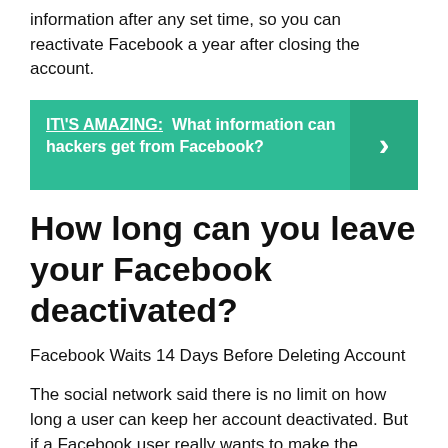information after any set time, so you can reactivate Facebook a year after closing the account.
[Figure (infographic): Teal/green callout box with bold white text: IT\'S AMAZING: What information can hackers get from Facebook? with a right arrow button on the right side.]
How long can you leave your Facebook deactivated?
Facebook Waits 14 Days Before Deleting Account
The social network said there is no limit on how long a user can keep her account deactivated. But if a Facebook user really wants to make the separation permanent,